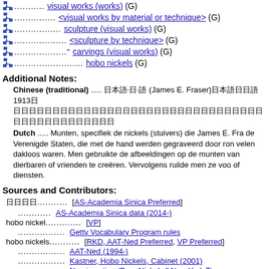visual works (works) (G)
<visual works by material or technique> (G)
sculpture (visual works) (G)
<sculpture by technique> (G)
carvings (visual works) (G)
hobo nickels (G)
Additional Notes:
Chinese (traditional) ..... [Chinese chars] (James E. Fraser)[Chinese chars]1913[Chinese chars]
[Chinese chars]
Dutch ..... Munten, specifiek de nickels (stuivers) die James E. Fra de Verenigde Staten, die met de hand werden gegraveerd door ron velen dakloos waren. Men gebruikte de afbeeldingen op de munten van dierbaren of vrienden te creëren. Vervolgens ruilde men ze voo of diensten.
Sources and Contributors:
[Chinese chars]............ [AS-Academia Sinica Preferred]
.............. AS-Academia Sinica data (2014-)
hobo nickel............. [VP]
......................... Getty Vocabulary Program rules
hobo nickels........... [RKD, AAT-Ned Preferred, VP Preferred]
......................... AAT-Ned (1994-)
......................... Kastner, Hobo Nickels, Cabinet (2001)
......................... Numismatics; 'Bum Nickels," New York Times
......................... Original Hobo Nickel Society [online] (2007-)